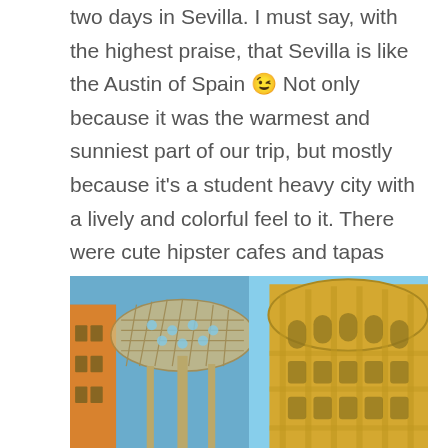two days in Sevilla.  I must say, with the highest praise, that Sevilla is like the Austin of Spain 😉 Not only because it was the warmest and sunniest part of our trip, but mostly because it's a student heavy city with a lively and colorful feel to it.  There were cute hipster cafes and tapas bars in the area by the Metropol Parasol that just made me want to live there.  Aaand that's the main thing that reminded me of Austin, but I could have also been a little home sick.
[Figure (photo): Two side-by-side photos of Sevilla architecture: left shows the Metropol Parasol structure against a blue sky with orange building facade; right shows a ornate curved golden-yellow building facade against blue sky.]